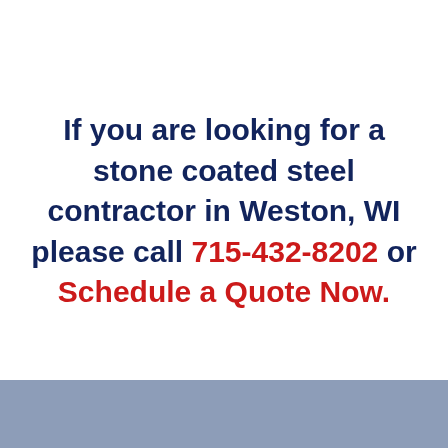If you are looking for a stone coated steel contractor in Weston, WI please call 715-432-8202 or Schedule a Quote Now.